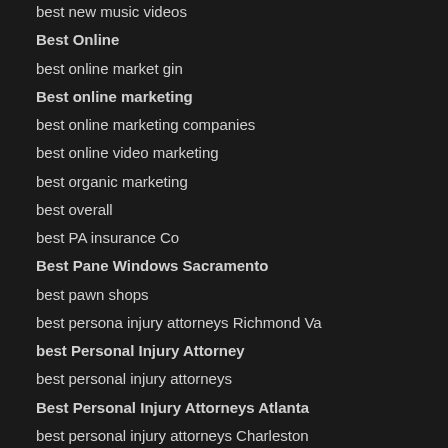best new music videos
Best Online
best online market gin
Best online marketing
best online marketing companies
best online video marketing
best organic marketing
best overall
best PA insurance Co
Best Pane Windows Sacramento
best pawn shops
best persona injury attorneys Richmond Va
best Personal Injury Attorney
best personal injury attorneys
Best Personal Injury Attorneys Atlanta
best personal injury attorneys Charleston
best personal injury attorneys Charleston SC